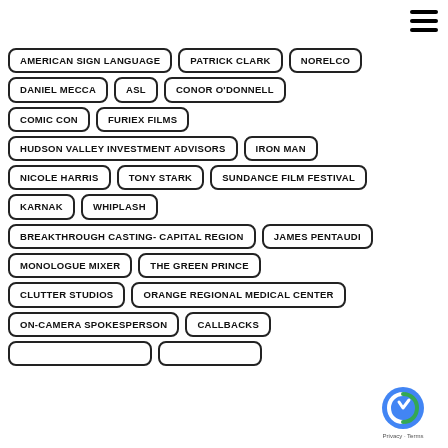AMERICAN SIGN LANGUAGE
PATRICK CLARK
NORELCO
DANIEL MECCA
ASL
CONOR O'DONNELL
COMIC CON
FURIEX FILMS
HUDSON VALLEY INVESTMENT ADVISORS
IRON MAN
NICOLE HARRIS
TONY STARK
SUNDANCE FILM FESTIVAL
KARNAK
WHIPLASH
BREAKTHROUGH CASTING- CAPITAL REGION
JAMES PENTAUDI
MONOLOGUE MIXER
THE GREEN PRINCE
CLUTTER STUDIOS
ORANGE REGIONAL MEDICAL CENTER
ON-CAMERA SPOKESPERSON
CALLBACKS